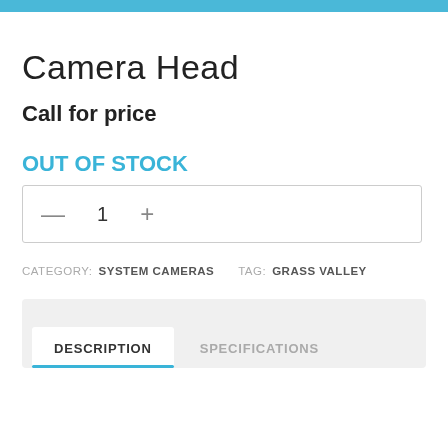Camera Head
Call for price
OUT OF STOCK
— 1 +
CATEGORY: SYSTEM CAMERAS  TAG: GRASS VALLEY
DESCRIPTION  SPECIFICATIONS